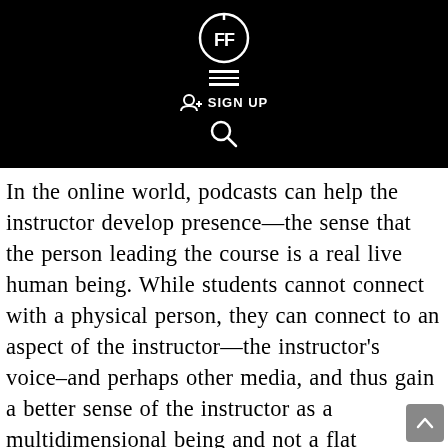[Figure (logo): Black navigation header bar with a circular FF logo icon, hamburger menu lines, a SIGN UP button with person icon, and a search magnifying glass icon, all in white on black background.]
In the online world, podcasts can help the instructor develop presence—the sense that the person leading the course is a real live human being. While students cannot connect with a physical person, they can connect to an aspect of the instructor—the instructor's voice–and perhaps other media, and thus gain a better sense of the instructor as a multidimensional being and not a flat computer icon. With regular podcasts, students come to anticipate new episodes at particular times and are drawn to the learning community to the point where the mediated space becomes increasingly transparent. Podcasts can serve